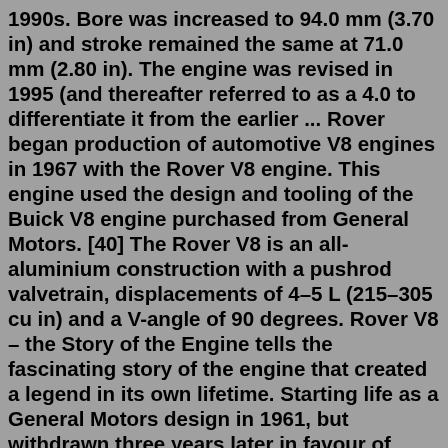1990s. Bore was increased to 94.0 mm (3.70 in) and stroke remained the same at 71.0 mm (2.80 in). The engine was revised in 1995 (and thereafter referred to as a 4.0 to differentiate it from the earlier ... Rover began production of automotive V8 engines in 1967 with the Rover V8 engine. This engine used the design and tooling of the Buick V8 engine purchased from General Motors. [40] The Rover V8 is an all-aluminium construction with a pushrod valvetrain, displacements of 4–5 L (215–305 cu in) and a V-angle of 90 degrees. Rover V8 – the Story of the Engine tells the fascinating story of the engine that created a legend in its own lifetime. Starting life as a General Motors design in 1961, but withdrawn three years later in favour of cheaper technology, it reached Rover by chance in the mid-1960s. File Type PDF Rover V8 Engine Number Location Land Rover Discovery - Wikipe… 1965 Rover P6 2000 Lot Number: Estimate: No Reserve V5 Present MoT Ex 11. 01553621415. View details. Sponsored Ad. solid, no rust, a crumple, good engine, transmission, brakes…